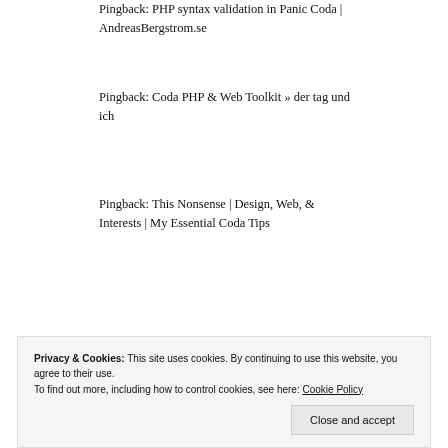Pingback: PHP syntax validation in Panic Coda | AndreasBergstrom.se
Pingback: Coda PHP & Web Toolkit » der tag und ich
Pingback: This Nonsense | Design, Web, & Interests | My Essential Coda Tips
Privacy & Cookies: This site uses cookies. By continuing to use this website, you agree to their use.
To find out more, including how to control cookies, see here: Cookie Policy
Close and accept